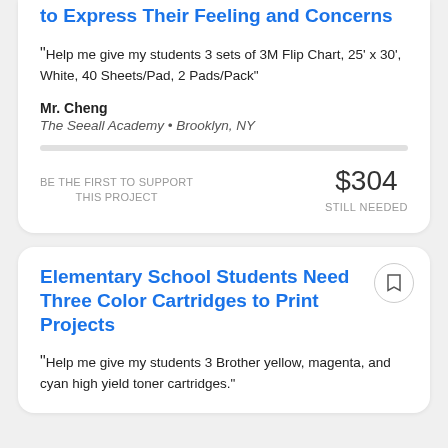to Express Their Feeling and Concerns
“Help me give my students 3 sets of 3M Flip Chart, 25’ x 30’, White, 40 Sheets/Pad, 2 Pads/Pack”
Mr. Cheng
The Seeall Academy • Brooklyn, NY
BE THE FIRST TO SUPPORT THIS PROJECT
$304 STILL NEEDED
Elementary School Students Need Three Color Cartridges to Print Projects
“Help me give my students 3 Brother yellow, magenta, and cyan high yield toner cartridges.”